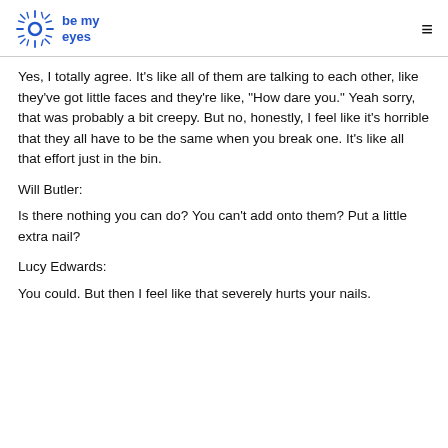be my eyes
Yes, I totally agree. It's like all of them are talking to each other, like they've got little faces and they're like, "How dare you." Yeah sorry, that was probably a bit creepy. But no, honestly, I feel like it's horrible that they all have to be the same when you break one. It's like all that effort just in the bin.
Will Butler:
Is there nothing you can do? You can't add onto them? Put a little extra nail?
Lucy Edwards:
You could. But then I feel like that severely hurts your nails.